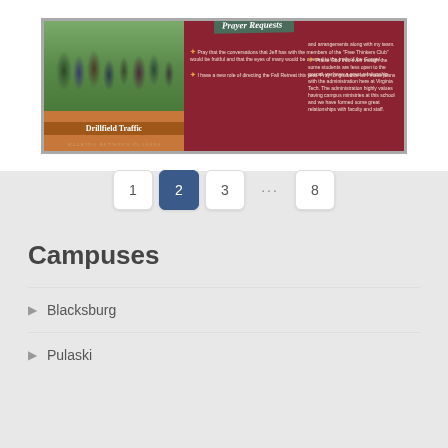[Figure (infographic): Prayer Requests card with photo of Drillfield Traffic walking between classes at Virginia Tech, with two bullet prayer points on the left and two on the right]
1  2  3  ...  8
Campuses
Blacksburg
Pulaski